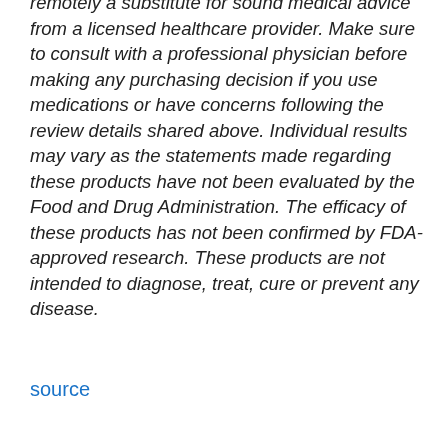remotely a substitute for sound medical advice from a licensed healthcare provider. Make sure to consult with a professional physician before making any purchasing decision if you use medications or have concerns following the review details shared above. Individual results may vary as the statements made regarding these products have not been evaluated by the Food and Drug Administration. The efficacy of these products has not been confirmed by FDA-approved research. These products are not intended to diagnose, treat, cure or prevent any disease.
source